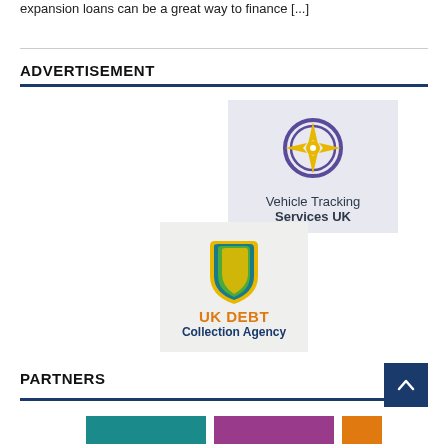expansion loans can be a great way to finance [...]
ADVERTISEMENT
[Figure (logo): Vehicle Tracking Services UK logo — compass/star icon in gold and purple on lavender background with text 'Vehicle Tracking Services UK']
[Figure (logo): UK Debt Collection Agency logo — shield with gold/teal/green design on light grey background with text 'UK DEBT Collection Agency']
PARTNERS